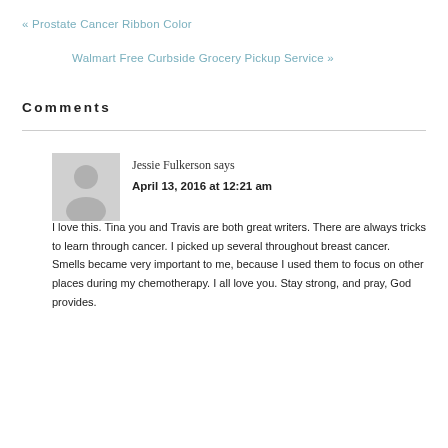« Prostate Cancer Ribbon Color
Walmart Free Curbside Grocery Pickup Service »
Comments
Jessie Fulkerson says
April 13, 2016 at 12:21 am
I love this. Tina you and Travis are both great writers. There are always tricks to learn through cancer. I picked up several throughout breast cancer. Smells became very important to me, because I used them to focus on other places during my chemotherapy. I all love you. Stay strong, and pray, God provides.